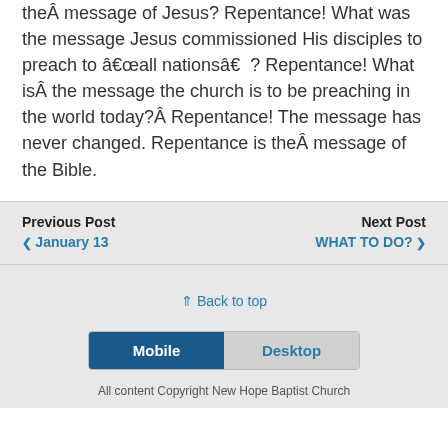theÂ message of Jesus? Repentance! What was the message Jesus commissioned His disciples to preach to â€œall nationsâ€? Repentance! What isÂ the message the church is to be preaching in the world today?Â Repentance! The message has never changed. Repentance is theÂ message of the Bible.
Previous Post
❮ January 13
Next Post
WHAT TO DO? ❯
⇑ Back to top
Mobile | Desktop
All content Copyright New Hope Baptist Church